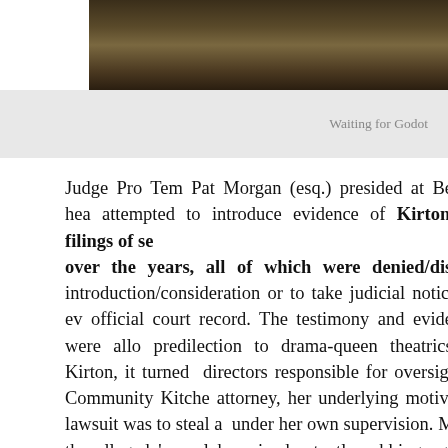[Figure (photo): Photograph of books or papers on a surface, dark background]
Waiting for Godot
Judge Pro Tem Pat Morgan (esq.) presided at Benjamin's hearing and attempted to introduce evidence of Kirton's prior filings of several cases over the years, all of which were denied/dismissed. introduction/consideration or to take judicial notice of that evidence as official court record. The testimony and evidence that were allowed showed a predilection to drama-queen theatrics. Krista Kirton, it turned out, was one directors responsible for oversight of the Community Kitchen. Per her attorney, her underlying motive for the lawsuit was to steal a the Kitchen under her own supervision. Moreover, the alleged 'sexual harassment' was inadvertently rubbing against her arm on one occasion and rubbing her back to relieve her on-the-job stress on another. The rest of her testimony was about being "rude" to her grandchild (Ken advised her the Kitchen was not a play place) and using his position there to hustle women patrons/staff. Her testimony was additionally incriminating to say about Mr. Benjamin.